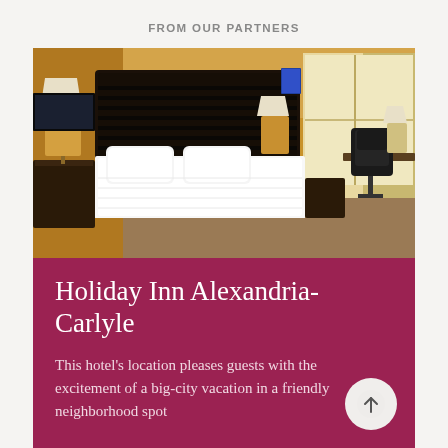FROM OUR PARTNERS
[Figure (photo): Hotel room photo showing a neatly made king bed with white linens, dark wood headboard, bedside lamps, large window with beige curtains, office chair and desk on the right, warm amber/golden wall tones.]
Holiday Inn Alexandria-Carlyle
This hotel's location pleases guests with the excitement of a big-city vacation in a friendly neighborhood spot